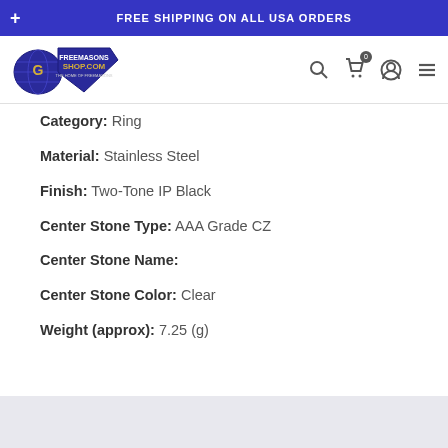FREE SHIPPING ON ALL USA ORDERS
[Figure (logo): FreemasonShop.com logo with Masonic square and compass emblem on blue shield]
Category: Ring
Material: Stainless Steel
Finish: Two-Tone IP Black
Center Stone Type: AAA Grade CZ
Center Stone Name:
Center Stone Color: Clear
Weight (approx): 7.25 (g)